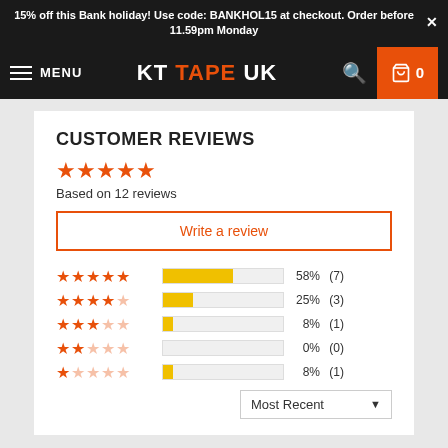15% off this Bank holiday! Use code: BANKHOL15 at checkout. Order before 11.59pm Monday
MENU KT TAPE UK 0
CUSTOMER REVIEWS
Based on 12 reviews
Write a review
[Figure (bar-chart): Customer Reviews Rating Distribution]
Most Recent ▼